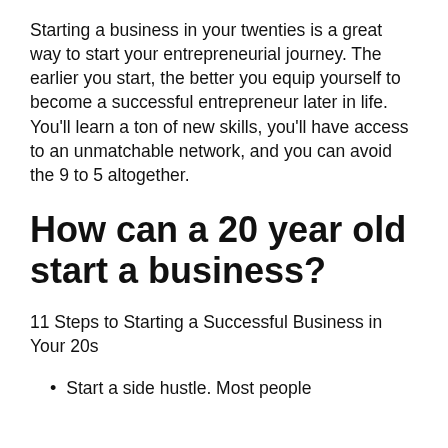Starting a business in your twenties is a great way to start your entrepreneurial journey. The earlier you start, the better you equip yourself to become a successful entrepreneur later in life. You'll learn a ton of new skills, you'll have access to an unmatchable network, and you can avoid the 9 to 5 altogether.
How can a 20 year old start a business?
11 Steps to Starting a Successful Business in Your 20s
Start a side hustle. Most people